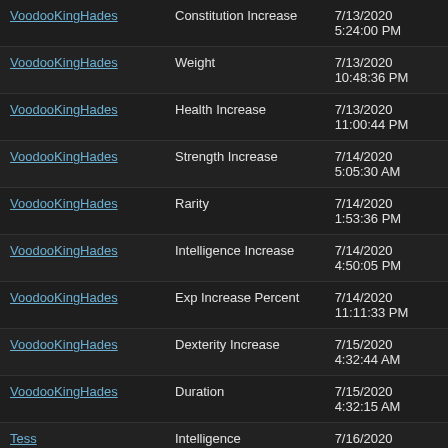| User | Property | Date |
| --- | --- | --- |
| VoodooKingHades | Constitution Increase | 7/13/2020 5:24:00 PM |
| VoodooKingHades | Weight | 7/13/2020 10:48:36 PM |
| VoodooKingHades | Health Increase | 7/13/2020 11:00:44 PM |
| VoodooKingHades | Strength Increase | 7/14/2020 5:05:30 AM |
| VoodooKingHades | Rarity | 7/14/2020 1:53:36 PM |
| VoodooKingHades | Intelligence Increase | 7/14/2020 4:50:05 PM |
| VoodooKingHades | Exp Increase Percent | 7/14/2020 11:11:33 PM |
| VoodooKingHades | Dexterity Increase | 7/15/2020 4:32:44 AM |
| VoodooKingHades | Duration | 7/15/2020 4:32:15 AM |
| Tess | Intelligence Requirement | 7/16/2020 4:26:50 PM |
| Tess | Elemental Damage Increase Percent | 7/17/2020 9:52:04 AM |
| Tess | Skill Requirement Type | 7/17/2020 4:38:32 PM |
| Tess |  | 7/18/2020 7:59:03 |